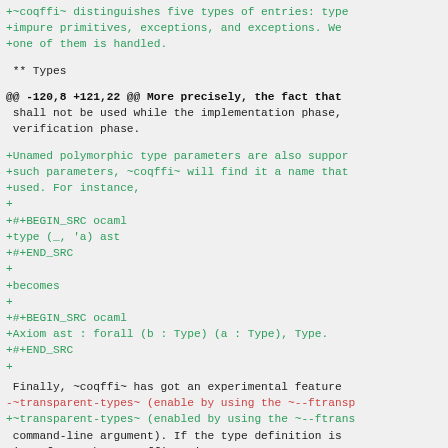+~coqffi~ distinguishes five types of entries: type
+impure primitives, exceptions, and exceptions. We
+one of them is handled.
** Types
@@ -120,8 +121,22 @@ More precisely, the fact that
 shall not be used while the implementation phase,
 verification phase.
+Unamed polymorphic type parameters are also suppor
+such parameters, ~coqffi~ will find it a name that
+used. For instance,
+
+#+BEGIN_SRC ocaml
+type (_, 'a) ast
+#+END_SRC
+
+becomes
+
+#+BEGIN_SRC ocaml
+Axiom ast : forall (b : Type) (a : Type), Type.
+#+END_SRC
+
Finally, ~coqffi~ has got an experimental feature
-~transparent-types~ (enable by using the ~--ftransp
+~transparent-types~ (enabled by using the ~--ftrans
 command-line argument). If the type definition is
 interface, then ~coqffi~ tries to generates an equ
 in Coq. For instance,